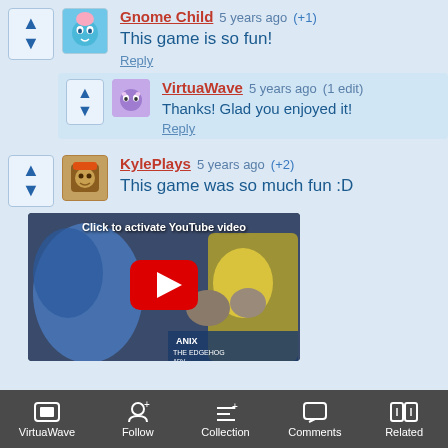Gnome Child  5 years ago  (+1)
This game is so fun!
Reply
VirtuaWave  5 years ago  (1 edit)
Thanks! Glad you enjoyed it!
Reply
KylePlays  5 years ago  (+2)
This game was so much fun :D
[Figure (screenshot): YouTube video embed placeholder showing 'Click to activate YouTube video' with red play button over a hedgehog game thumbnail]
VirtuaWave  Follow  Collection  Comments  Related